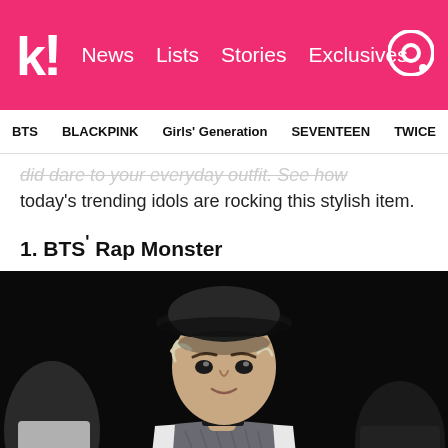k! News  Lists  Stories  Exclusives
BTS  BLACKPINK  Girls' Generation  SEVENTEEN  TWICE
did dare to your everyday outfit. See how today's trending idols are rocking this stylish item.
1. BTS' Rap Monster
[Figure (photo): Photo of BTS' Rap Monster wearing a black bucket hat, choker necklace, and a gray/white vest top against a dark background]